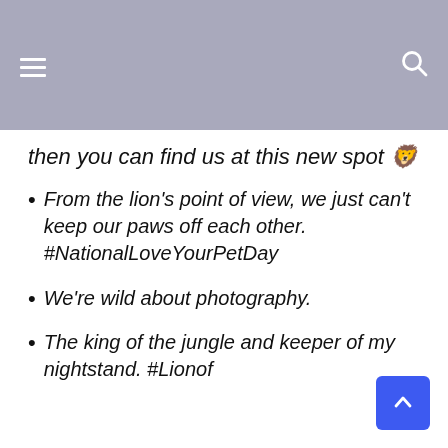then you can find us at this new spot 🦁
• From the lion's point of view, we just can't keep our paws off each other. #NationalLoveYourPetDay
• We're wild about photography.
• The king of the jungle and keeper of my nightstand. #Lionof